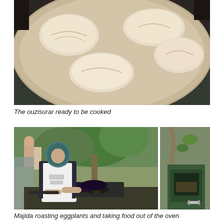[Figure (photo): A round tray or plate with several ouzisurar dough parcels (folded pastries) arranged on it, ready to be cooked. Overhead close-up view with dark background.]
The ouzisurar ready to be cooked
[Figure (photo): Two side-by-side photos: Left - Majida, a woman wearing a headscarf and white apron, roasting eggplants on a gas burner outdoors with trees in background. Right - An oven door being opened or closed, showing food being taken out.]
Majida roasting eggplants and taking food out of the oven